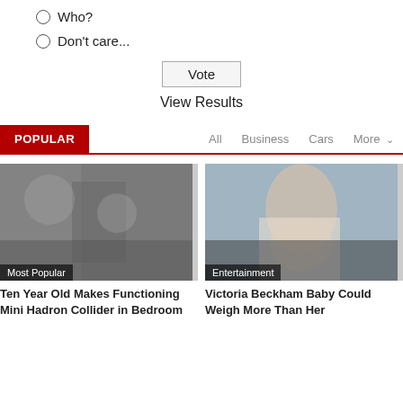Who?
Don't care...
Vote
View Results
POPULAR
All  Business  Cars  More
[Figure (photo): Children wearing blindfolds / goggles in a classroom setting with an adult. Label: Most Popular]
Ten Year Old Makes Functioning Mini Hadron Collider in Bedroom
[Figure (photo): Pregnant woman in white top being embraced. Label: Entertainment]
Victoria Beckham Baby Could Weigh More Than Her